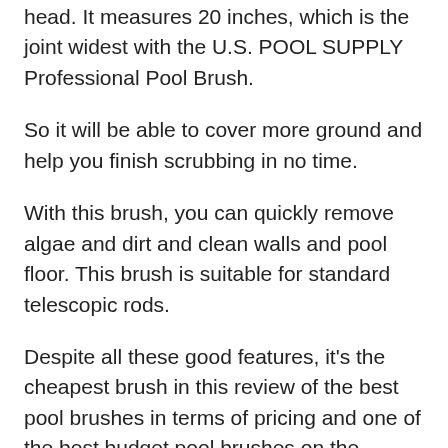head. It measures 20 inches, which is the joint widest with the U.S. POOL SUPPLY Professional Pool Brush.
So it will be able to cover more ground and help you finish scrubbing in no time.
With this brush, you can quickly remove algae and dirt and clean walls and pool floor. This brush is suitable for standard telescopic rods.
Despite all these good features, it's the cheapest brush in this review of the best pool brushes in terms of pricing and one of the best budget pool brushes on the market.